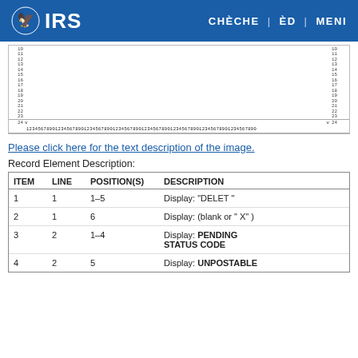IRS | CHÈCHE | ÈD | MENI
[Figure (other): IRS form layout ruler showing lines 10-24 with character position ruler 1-80 and range labels 1-9, 11-19, 21-29, 31-39, 41-49, 51-59, 61-69, 71-80]
Please click here for the text description of the image.
Record Element Description:
| ITEM | LINE | POSITION(S) | DESCRIPTION |
| --- | --- | --- | --- |
| 1 | 1 | 1–5 | Display: "DELET " |
| 2 | 1 | 6 | Display: (blank or " X" ) |
| 3 | 2 | 1–4 | Display: PENDING STATUS CODE |
| 4 | 2 | 5 | Display: UNPOSTABLE |